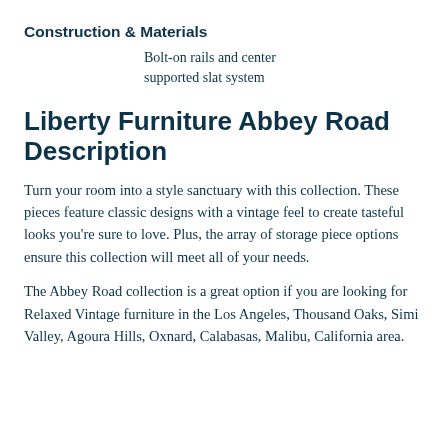Construction & Materials
Bolt-on rails and center supported slat system
Liberty Furniture Abbey Road Description
Turn your room into a style sanctuary with this collection. These pieces feature classic designs with a vintage feel to create tasteful looks you're sure to love. Plus, the array of storage piece options ensure this collection will meet all of your needs.
The Abbey Road collection is a great option if you are looking for Relaxed Vintage furniture in the Los Angeles, Thousand Oaks, Simi Valley, Agoura Hills, Oxnard, Calabasas, Malibu, California area.